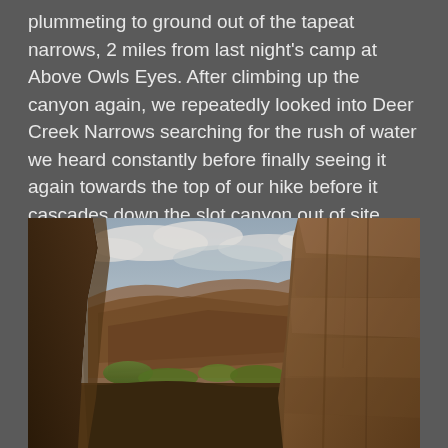plummeting to ground out of the tapeat narrows, 2 miles from last night's camp at Above Owls Eyes. After climbing up the canyon again, we repeatedly looked into Deer Creek Narrows searching for the rush of water we heard constantly before finally seeing it again towards the top of our hike before it cascades down the slot canyon out of site again.
[Figure (photo): Canyon landscape photo looking up through narrow slot canyon walls of layered sandstone rock formations, with cloudy blue sky visible and distant red canyon cliffs and green vegetation in the background.]